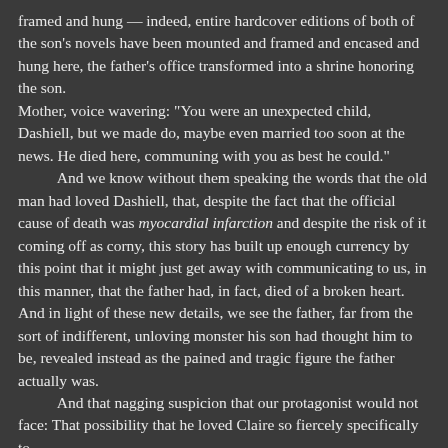framed and hung — indeed, entire hardcover editions of both of the son's novels have been mounted and framed and encased and hung here, the father's office transformed into a shrine honoring the son.
Mother, voice wavering: "You were an unexpected child, Dashiell, but we made do, maybe even married too soon at the news. He died here, communing with you as best he could."
    And we know without them speaking the words that the old man had loved Dashiell, that, despite the fact that the official cause of death was myocardial infarction and despite the risk of it coming off as corny, this story has built up enough currency by this point that it might just get away with communicating to us, in this manner, that the father had, in fact, died of a broken heart. And in light of these new details, we see the father, far from the sort of indifferent, unloving monster his son had thought him to be, revealed instead as the pained and tragic figure the father actually was.
    And that nagging suspicion that our protagonist would not face: That possibility that he loved Claire so fiercely specifically to